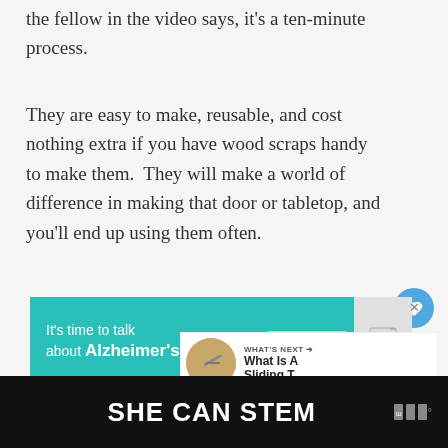the fellow in the video says, it's a ten-minute process.
They are easy to make, reusable, and cost nothing extra if you have wood scraps handy to make them.  They will make a world of difference in making that door or tabletop, and you'll end up using them often.
[Figure (infographic): Advertisement banner for Alzheimer's awareness: teal/turquoise background with white text 'It's time to talk about Alzheimer's.' and a 'LEARN MORE' button]
[Figure (infographic): WHAT'S NEXT panel with thumbnail image and text 'What Is A Sliding T...']
[Figure (infographic): Footer banner with dark background and bold white text 'SHE CAN STEM' with a logo on the right]